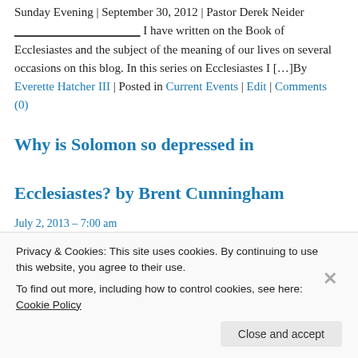Sunday Evening | September 30, 2012 | Pastor Derek Neider _____________________ I have written on the Book of Ecclesiastes and the subject of the meaning of our lives on several occasions on this blog. In this series on Ecclesiastes I […]By Everette Hatcher III | Posted in Current Events | Edit | Comments (0)
Why is Solomon so depressed in Ecclesiastes? by Brent Cunningham
July 2, 2013 – 7:00 am
Privacy & Cookies: This site uses cookies. By continuing to use this website, you agree to their use.
To find out more, including how to control cookies, see here: Cookie Policy